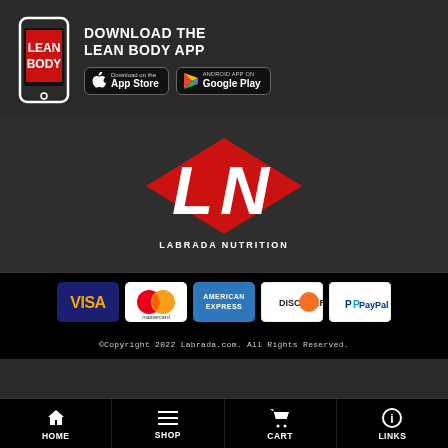[Figure (infographic): Download the Lean Body App promotional banner with phone icon, App Store and Google Play buttons]
[Figure (logo): Labrada Nutrition LN logo in red and white on dark background]
[Figure (infographic): Payment method icons: Visa, Mastercard, American Express, Discover, PayPal]
©Copyright 2022 Labrada.com. All Rights Reserved.
HOME | SHOP | CART | LINKS